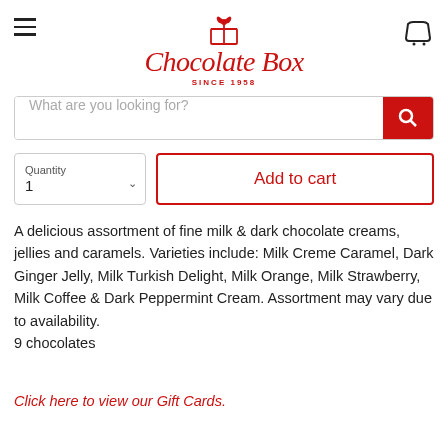[Figure (logo): Chocolate Box logo with gift box icon and cursive red text 'Chocolate Box' and 'SINCE 1958']
What are you looking for?
Quantity
1
Add to cart
A delicious assortment of fine milk & dark chocolate creams, jellies and caramels. Varieties include: Milk Creme Caramel, Dark Ginger Jelly, Milk Turkish Delight, Milk Orange, Milk Strawberry, Milk Coffee & Dark Peppermint Cream. Assortment may vary due to availability.
9 chocolates
Click here to view our Gift Cards.